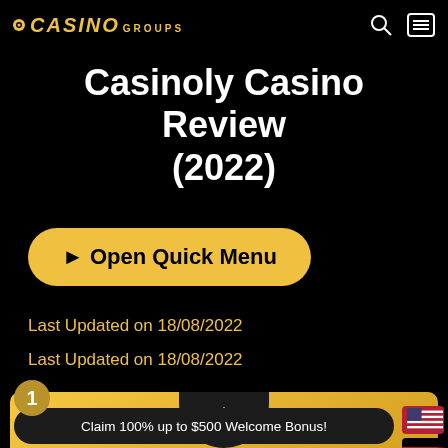Casino Groups
Casinoly Casino Review (2022)
► Open Quick Menu
Last Updated on 18/08/2022
Last Updated on 18/08/2022
[Figure (logo): Casinoly casino logo on golden card with dark circular emblem]
Claim 100% up to $500 Welcome Bonus!